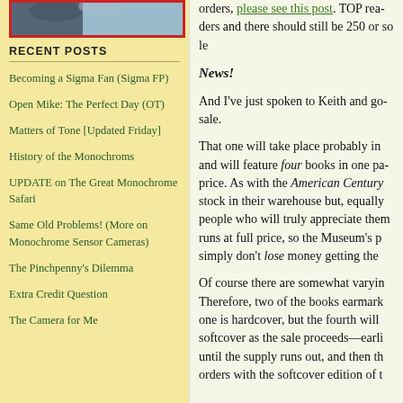[Figure (photo): Partial photo of a subject (cat or animal) with red border, cropped at top]
RECENT POSTS
Becoming a Sigma Fan (Sigma FP)
Open Mike: The Perfect Day (OT)
Matters of Tone [Updated Friday]
History of the Monochroms
UPDATE on The Great Monochrome Safari
Same Old Problems! (More on Monochrome Sensor Cameras)
The Pinchpenny's Dilemma
Extra Credit Question
The Camera for Me
orders, please see this post. TOP readers and there should still be 250 or so le
News!
And I've just spoken to Keith and go sale.
That one will take place probably in and will feature four books in one pa price. As with the American Century stock in their warehouse but, equally people who will truly appreciate them runs at full price, so the Museum's p simply don't lose money getting the
Of course there are somewhat varyin Therefore, two of the books earmark one is hardcover, but the fourth will softcover as the sale proceeds—earli until the supply runs out, and then th orders with the softcover edition of t